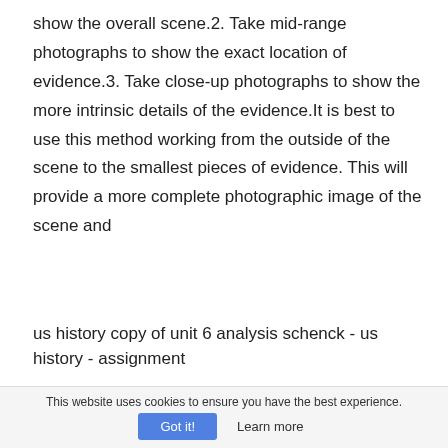show the overall scene.2. Take mid-range photographs to show the exact location of evidence.3. Take close-up photographs to show the more intrinsic details of the evidence.It is best to use this method working from the outside of the scene to the smallest pieces of evidence. This will provide a more complete photographic image of the scene and
us history copy of unit 6 analysis schenck - us history - assignment
2837 words - 12 pages
This website uses cookies to ensure you have the best experience.